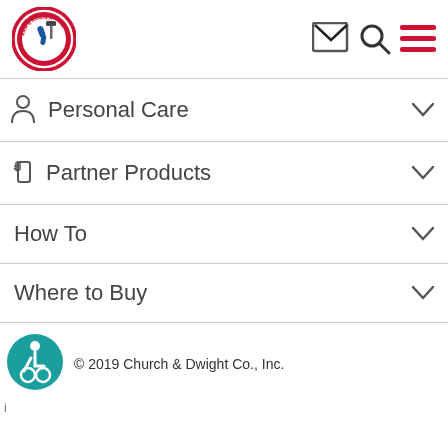[Figure (logo): Arm & Hammer circular logo with red border and blue arm holding hammer]
[Figure (screenshot): Header navigation icons: mail envelope in box, search magnifier, hamburger menu with red lines]
Personal Care
Partner Products
How To
Where to Buy
© 2019 Church & Dwight Co., Inc.
[Figure (logo): Accessibility icon: teal circle with wheelchair user symbol]
i